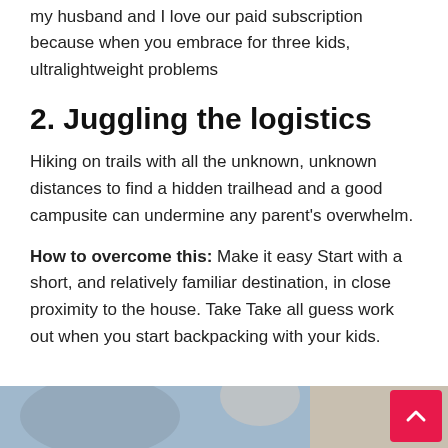my husband and I love our paid subscription because when you embrace for three kids, ultralightweight problems
2. Juggling the logistics
Hiking on trails with all the unknown, unknown distances to find a hidden trailhead and a good campusite can undermine any parent’s overwhelm.
How to overcome this: Make it easy Start with a short, and relatively familiar destination, in close proximity to the house. Take Take all guess work out when you start backpacking with your kids.
[Figure (photo): Partial photo of a person outdoors, visible at bottom of page]